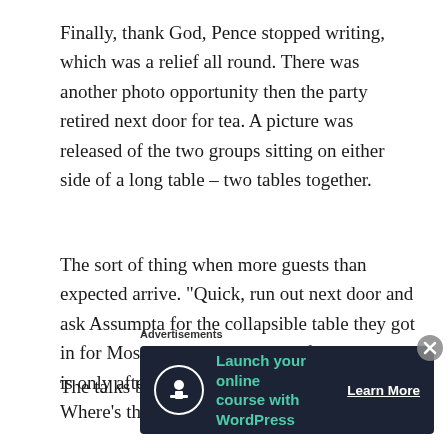Finally, thank God, Pence stopped writing, which was a relief all round. There was another photo opportunity then the party retired next door for tea. A picture was released of the two groups sitting on either side of a long table – two tables together.
The sort of thing when more guests than expected arrive. "Quick, run out next door and ask Assumpta for the collapsible table they got in for Mossie's wake. Your man from America is only after arriving with half of Indiana. Where's the big tablecloth?"
The talks between the President and the vice-
Advertisements
[Figure (screenshot): Advertisement banner with dark navy background: tree/person icon in circle, green text 'Launch your online course with WordPress', white 'Learn More' button link]